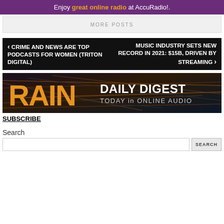Enjoy great online radio at AccuRadio!.
MORE POSTS
< CRIME AND NEWS ARE TOP PODCASTS FOR WOMEN (TRITON DIGITAL)
MUSIC INDUSTRY SETS NEW RECORD IN 2021: $15B, DRIVEN BY STREAMING >
[Figure (logo): RAIN Daily Digest - Today in Online Audio banner advertisement with orange RAIN text on dark background with motion blur lines]
SUBSCRIBE
Search